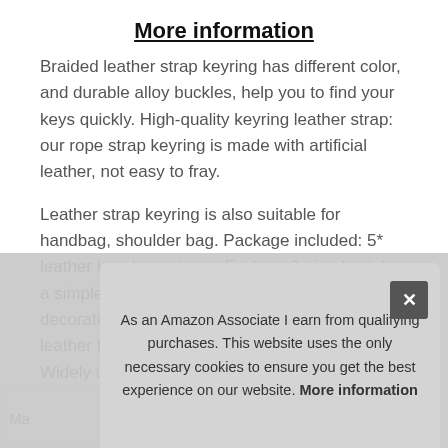More information
Braided leather strap keyring has different color, and durable alloy buckles, help you to find your keys quickly. High-quality keyring leather strap: our rope strap keyring is made with artificial leather, not easy to fray.
Leather strap keyring is also suitable for handbag, shoulder bag. Package included: 5* leather keychain straps. Fashion & simple style: a simple and tasteful keyring strap, no other decoration. The strap keychain only has artificial leather braided ropes, anti-lost strap keyring. Widely used: this keychain strap can use as a car keyring strap, backpack, house key.
As an Amazon Associate I earn from qualifying purchases. This website uses the only necessary cookies to ensure you get the best experience on our website. More information